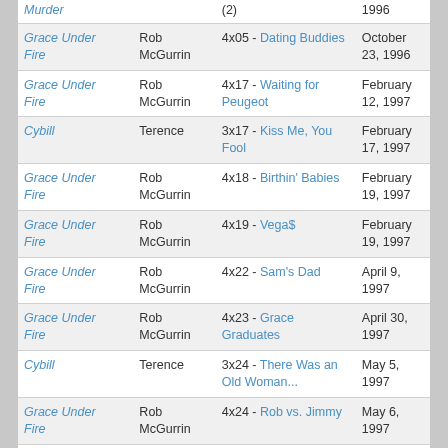| Show | Character | Episode | Date |
| --- | --- | --- | --- |
| Murder |  | (2) | 1996 |
| Grace Under Fire | Rob McGurrin | 4x05 - Dating Buddies | October 23, 1996 |
| Grace Under Fire | Rob McGurrin | 4x17 - Waiting for Peugeot | February 12, 1997 |
| Cybill | Terence | 3x17 - Kiss Me, You Fool | February 17, 1997 |
| Grace Under Fire | Rob McGurrin | 4x18 - Birthin' Babies | February 19, 1997 |
| Grace Under Fire | Rob McGurrin | 4x19 - Vega$ | February 19, 1997 |
| Grace Under Fire | Rob McGurrin | 4x22 - Sam's Dad | April 9, 1997 |
| Grace Under Fire | Rob McGurrin | 4x23 - Grace Graduates | April 30, 1997 |
| Cybill | Terence | 3x24 - There Was an Old Woman... | May 5, 1997 |
| Grace Under Fire | Rob McGurrin | 4x24 - Rob vs. Jimmy | May 6, 1997 |
| Boy Meets World | Guidance Counselor | 6x03 - Ain't College Great? | October 9, 1998 |